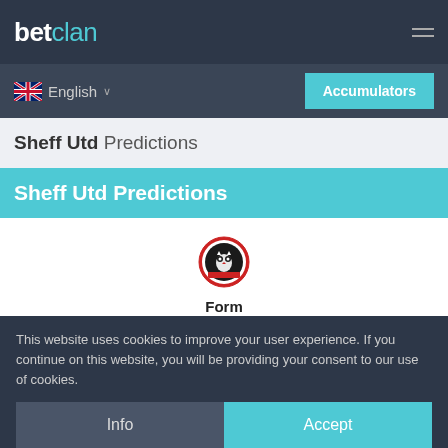betclan
English
Accumulators
Sheff Utd Predictions
Sheff Utd Predictions
[Figure (logo): Sheffield United FC badge/crest logo - circular red badge with owl emblem]
Form
W W D L W
Wins 9/15
This website uses cookies to improve your user experience. If you continue on this website, you will be providing your consent to our use of cookies.
Info
Accept